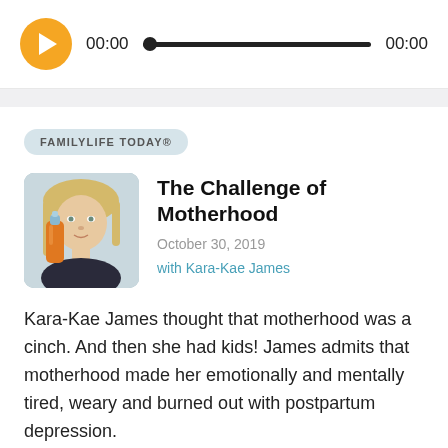[Figure (screenshot): Audio player bar with orange play button, 00:00 start time, progress bar, and 00:00 end time]
FAMILYLIFE TODAY®
[Figure (photo): Blonde woman holding an orange baby bottle]
The Challenge of Motherhood
October 30, 2019
with Kara-Kae James
Kara-Kae James thought that motherhood was a cinch. And then she had kids! James admits that motherhood made her emotionally and mentally tired, weary and burned out with postpartum depression.